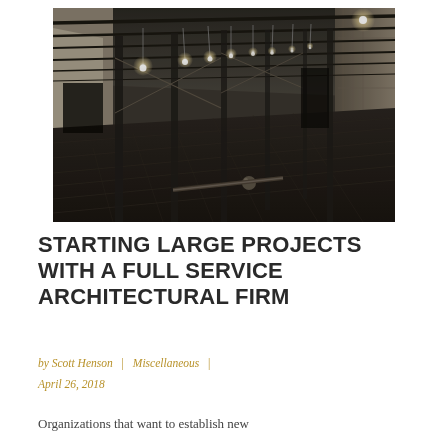[Figure (photo): Black and white interior photograph of a large empty industrial or warehouse space under construction, showing exposed wooden roof beams, structural steel columns, hanging light bulbs, and a wide plank floor with debris.]
STARTING LARGE PROJECTS WITH A FULL SERVICE ARCHITECTURAL FIRM
by Scott Henson  |  Miscellaneous  |  April 26, 2018
Organizations that want to establish new